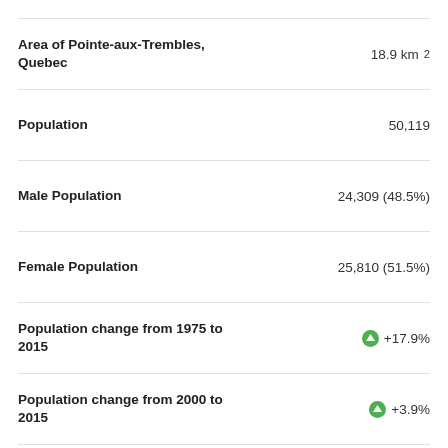Area of Pointe-aux-Trembles, Quebec
Population
Male Population
Female Population
Population change from 1975 to 2015
Population change from 2000 to 2015
Median Age
Male Median Age